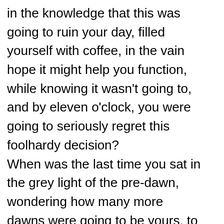in the knowledge that this was going to ruin your day, filled yourself with coffee, in the vain hope it might help you function, while knowing it wasn't going to, and by eleven o'clock, you were going to seriously regret this foolhardy decision?
When was the last time you sat in the grey light of the pre-dawn, wondering how many more dawns were going to be yours, to see?
When was the last time a curious mouse skittered up to see you, and you simply let it, without doing something to, or with it?

A life, even inexpertly lived, is a long, long